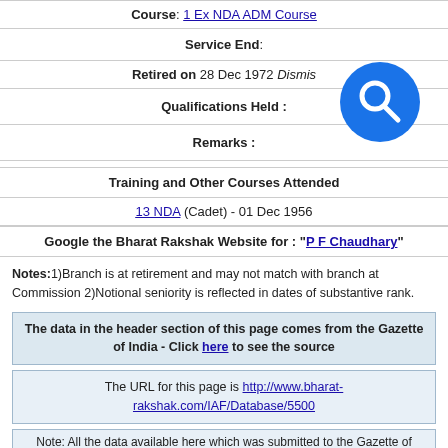Course: 1 Ex NDA ADM Course
Service End:
Retired on 28 Dec 1972 Dismis...
Qualifications Held :
Remarks :
Training and Other Courses Attended
13 NDA (Cadet) - 01 Dec 1956
Google the Bharat Rakshak Website for : "P F Chaudhary"
Notes:1)Branch is at retirement and may not match with branch at Commission 2)Notional seniority is reflected in dates of substantive rank.
The data in the header section of this page comes from the Gazette of India - Click here to see the source
The URL for this page is http://www.bharat-rakshak.com/IAF/Database/5500
Note: All the data available here which was submitted to the Gazette of